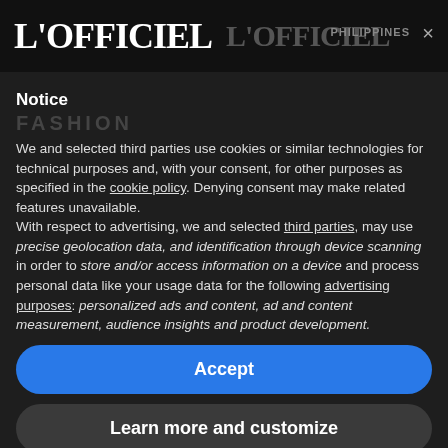L'OFFICIEL  L'OFFICIEL  PHILIPPINES ×
Notice
FASHION
We and selected third parties use cookies or similar technologies for technical purposes and, with your consent, for other purposes as specified in the cookie policy. Denying consent may make related features unavailable.
With respect to advertising, we and selected third parties, may use precise geolocation data, and identification through device scanning in order to store and/or access information on a device and process personal data like your usage data for the following advertising purposes: personalized ads and content, ad and content measurement, audience insights and product development.
Accept
Learn more and customize